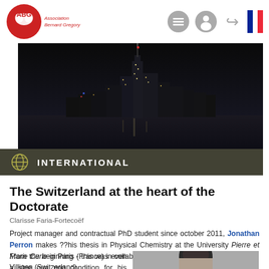[Figure (logo): ABG Association Bernard Gregory logo - red circle with brain graphic and ABG text]
[Figure (photo): Nighttime city skyline over water, tall skyscrapers lit up against dark sky]
INTERNATIONAL
The Switzerland at the heart of the Doctorate
Clarisse Faria-Fortecoëf
Project manager and contractual PhD student since october 2011, Jonathan Perron makes ??his thesis in Physical Chemistry at the University Pierre et Marie Curie in Paris (France) in collaboration with the Paul Scherrer Institute, Villigen (Switzerland).
From the beginning - this was even a sine qua non condition for his thesis supervisor at the
[Figure (photo): Portrait photo of a person, dark hair, outdoors background]